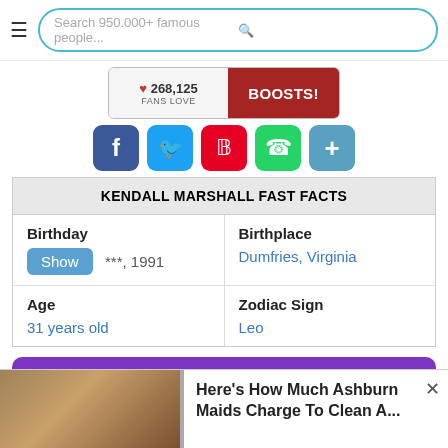Search 950.000+ famous people...
[Figure (infographic): Fans Love boost bar showing 268,125 fans love count with BOOSTS! button]
[Figure (infographic): Social sharing buttons: Facebook, Twitter, Pinterest, WhatsApp, More]
| KENDALL MARSHALL FAST FACTS |
| --- |
| Birthday | Birthplace |
| Show | ***, 1991 | Dumfries, Virginia |
| Age | Zodiac Sign |
| 31 years old | Leo |
[Figure (infographic): Purple button: Astrology Birth Chart of Kendall Marshall with star of David icon]
Here's How Much Ashburn Maids Charge To Clean A...